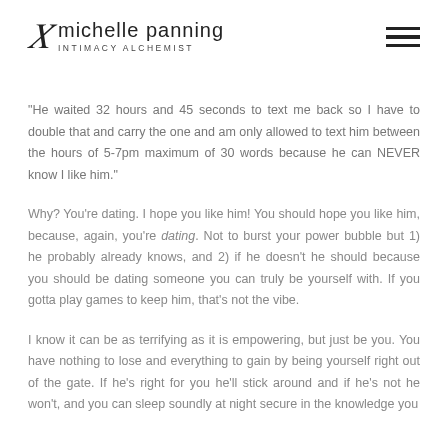michelle panning — INTIMACY ALCHEMIST
“He waited 32 hours and 45 seconds to text me back so I have to double that and carry the one and am only allowed to text him between the hours of 5-7pm maximum of 30 words because he can NEVER know I like him.”
Why? You’re dating. I hope you like him! You should hope you like him, because, again, you’re dating. Not to burst your power bubble but 1) he probably already knows, and 2) if he doesn’t he should because you should be dating someone you can truly be yourself with. If you gotta play games to keep him, that’s not the vibe.
I know it can be as terrifying as it is empowering, but just be you. You have nothing to lose and everything to gain by being yourself right out of the gate. If he’s right for you he’ll stick around and if he’s not he won’t, and you can sleep soundly at night secure in the knowledge you